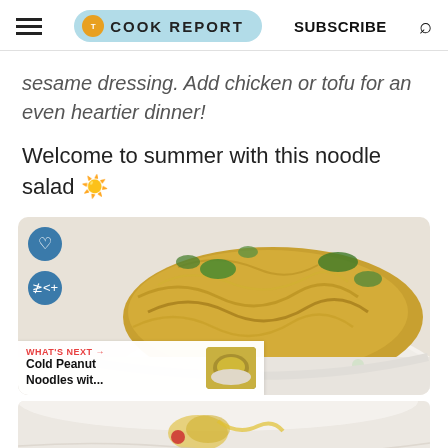THE COOK REPORT  SUBSCRIBE
sesame dressing. Add chicken or tofu for an even heartier dinner!
Welcome to summer with this noodle salad ☀
[Figure (photo): Bowl of noodle salad with herbs and sesame dressing on a white marble surface, with heart and share social buttons overlaid]
WHAT'S NEXT → Cold Peanut Noodles wit...
[Figure (photo): Bottom portion of a bowl with noodle salad ingredients visible on white marble]